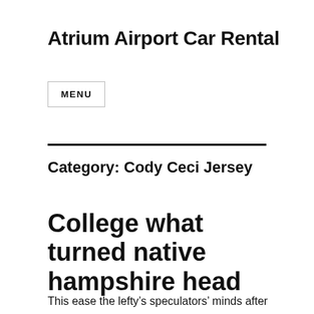Atrium Airport Car Rental
MENU
Category: Cody Ceci Jersey
College what turned native hampshire head
This ease the lefty’s speculators’ minds after